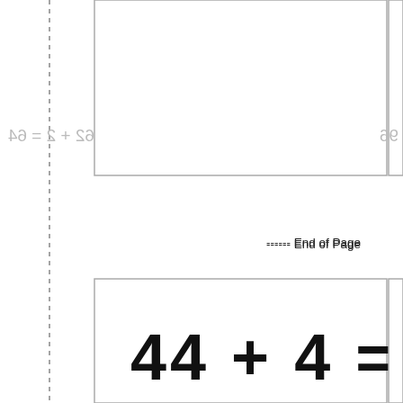[Figure (other): Worksheet box at top showing mirrored equation 62 + 2 = 64 in light gray, partially visible]
------ End of Page
[Figure (other): Large worksheet answer box with bold equation 44 + 4 = printed inside, partially cut off at bottom]